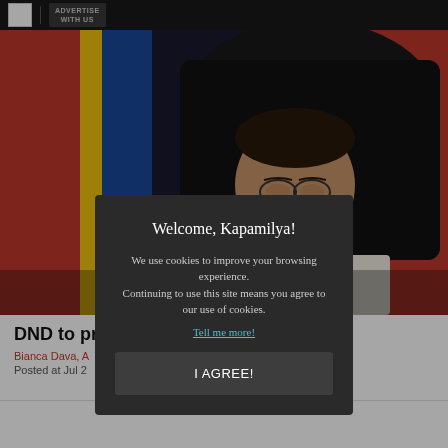ADVERTISE WITH US
[Figure (photo): A Filipino government official in a barong tagalog seated at a desk, with Philippine flags in the background.]
DND to prio...ea
Bianca Dava, A...
Posted at Jul 2...
Welcome, Kapamilya!

We use cookies to improve your browsing experience.
Continuing to use this site means you agree to our use of cookies.

Tell me more!

I AGREE!